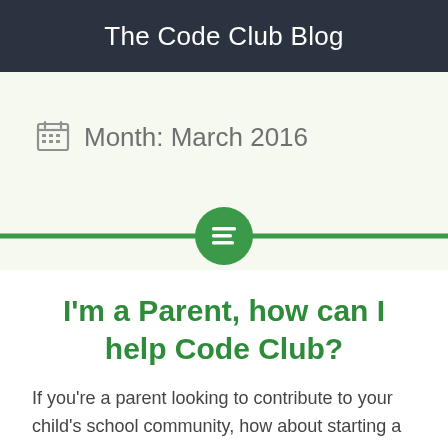The Code Club Blog
Month: March 2016
[Figure (other): Green horizontal divider line with a green circle containing a list/content icon in the center]
I'm a Parent, how can I help Code Club?
If you're a parent looking to contribute to your child's school community, how about starting a